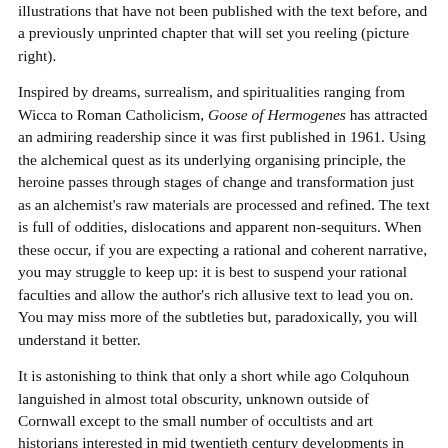illustrations that have not been published with the text before, and a previously unprinted chapter that will set you reeling (picture right).
Inspired by dreams, surrealism, and spiritualities ranging from Wicca to Roman Catholicism, Goose of Hermogenes has attracted an admiring readership since it was first published in 1961. Using the alchemical quest as its underlying organising principle, the heroine passes through stages of change and transformation just as an alchemist's raw materials are processed and refined. The text is full of oddities, dislocations and apparent non-sequiturs. When these occur, if you are expecting a rational and coherent narrative, you may struggle to keep up: it is best to suspend your rational faculties and allow the author's rich allusive text to lead you on. You may miss more of the subtleties but, paradoxically, you will understand it better.
It is astonishing to think that only a short while ago Colquhoun languished in almost total obscurity, unknown outside of Cornwall except to the small number of occultists and art historians interested in mid twentieth century developments in esotericism or surrealism. Even among those communities, although her importance was recognised, her true merits were concealed: her books were largely out of print (and phenomenally expensive on the second-hand market); her artworks mostly in storage and her written archives difficult to access. Publication of unknown writings or reproduction